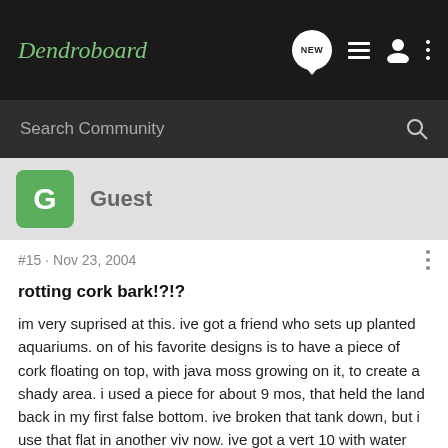Dendroboard
Search Community
Guest
#15 · Nov 23, 2004
rotting cork bark!?!?
im very suprised at this. ive got a friend who sets up planted aquariums. on of his favorite designs is to have a piece of cork floating on top, with java moss growing on it, to create a shady area. i used a piece for about 9 mos, that held the land back in my first false bottom. ive broken that tank down, but i use that flat in another viv now. ive got a vert 10 with water flowing down it constantly, and a 110 with the entire back wall covered, which the bottom stays just below the water line. in the 10 there was some discoloration of the water for about a month or so, and